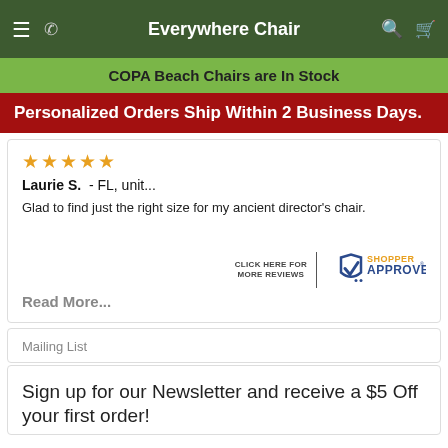Everywhere Chair
COPA Beach Chairs are In Stock
Personalized Orders Ship Within 2 Business Days.
Laurie S. - FL, unit... Glad to find just the right size for my ancient director's chair.
[Figure (logo): Shopper Approved badge with text CLICK HERE FOR MORE REVIEWS]
Read More...
Mailing List
Sign up for our Newsletter and receive a $5 Off your first order!